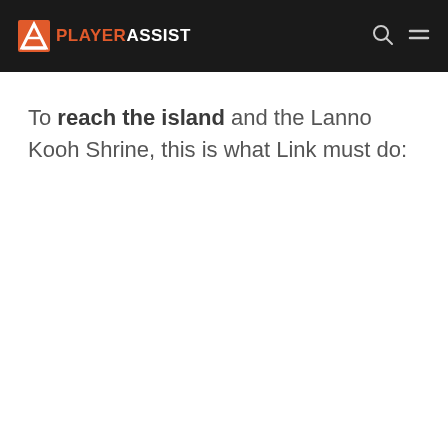PLAYER ASSIST
To reach the island and the Lanno Kooh Shrine, this is what Link must do: